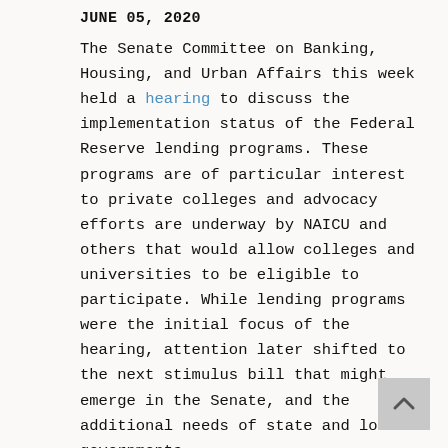JUNE 05, 2020
The Senate Committee on Banking, Housing, and Urban Affairs this week held a hearing to discuss the implementation status of the Federal Reserve lending programs. These programs are of particular interest to private colleges and advocacy efforts are underway by NAICU and others that would allow colleges and universities to be eligible to participate. While lending programs were the initial focus of the hearing, attention later shifted to the next stimulus bill that might emerge in the Senate, and the additional needs of state and local governments.